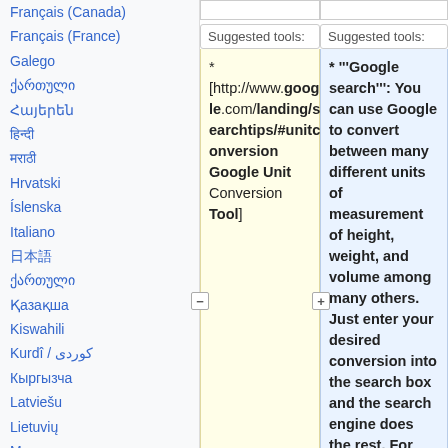Français (Canada)
Français (France)
Galego
ქართული (Georgian script)
Հայերեն
हिन्दी
मराठी
Hrvatski
Íslenska
Italiano
日本語
ქართული
Қазақша
Kiswahili
Kurdî / كوردی
Кыргызча
Latviešu
Lietuvių
Magyar
Македонски
Malagasy
മലയാളം
मराठी
Suggested tools:
Suggested tools:
* [http://www.google.com/landing/searchtips/#unitconversion Google Unit Conversion Tool]
* '''Google search''': You can use Google to convert between many different units of measurement of height, weight, and volume among many others. Just enter your desired conversion into the search box and the search engine does the rest. For example type: "10.5 cm in